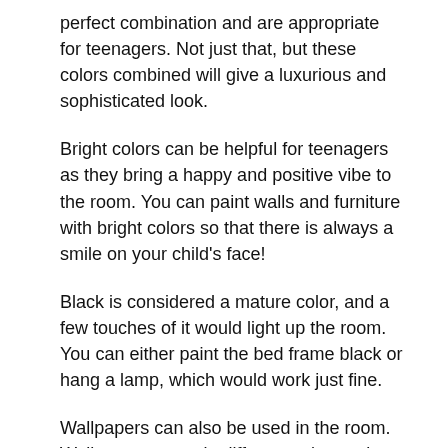perfect combination and are appropriate for teenagers. Not just that, but these colors combined will give a luxurious and sophisticated look.
Bright colors can be helpful for teenagers as they bring a happy and positive vibe to the room. You can paint walls and furniture with bright colors so that there is always a smile on your child's face!
Black is considered a mature color, and a few touches of it would light up the room. You can either paint the bed frame black or hang a lamp, which would work just fine.
Wallpapers can also be used in the room. Wallpapers come in different colors, prints